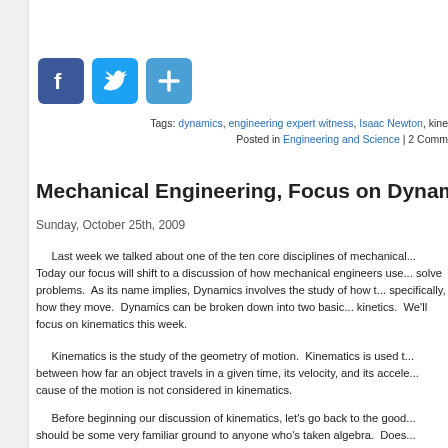[Figure (other): Social media share buttons: Facebook (f), Twitter (bird), and a plus/share icon, all with blue rounded square backgrounds]
Tags: dynamics, engineering expert witness, Isaac Newton, kine...
Posted in Engineering and Science | 2 Comm...
Mechanical Engineering, Focus on Dynamics – Part I, K...
Sunday, October 25th, 2009
Last week we talked about one of the ten core disciplines of mechanical... Today our focus will shift to a discussion of how mechanical engineers use... solve problems. As its name implies, Dynamics involves the study of how t... specifically, how they move. Dynamics can be broken down into two basic... kinetics. We'll focus on kinematics this week.
Kinematics is the study of the geometry of motion. Kinematics is used t... between how far an object travels in a given time, its velocity, and its accele... cause of the motion is not considered in kinematics.
Before beginning our discussion of kinematics, let's go back to the good... should be some very familiar ground to anyone who's taken algebra. Does...